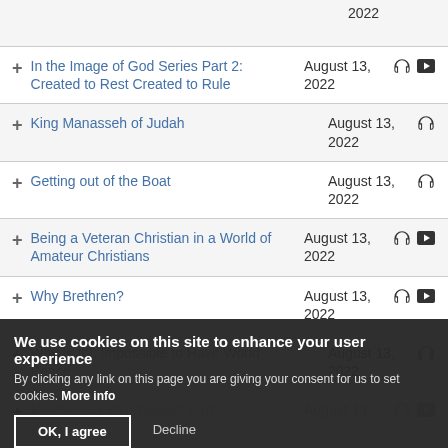2022
+ In the Image of God Series Part 2: Created to Rest Created to Rule | August 13, 2022
+ King Manasseh of Judah | August 13, 2022
+ Getting out of the Boat | August 13, 2022
+ Being a Veteran Christian in a World of Amateur Christians | August 13, 2022
+ Why Brethren? | August 13, 2022
+ Why Is It?: Impossible to Have World Peace | August 13, 2022
We use cookies on this site to enhance your user experience
By clicking any link on this page you are giving your consent for us to set cookies. More info
+ Maintaining Your Bucket: Part 2 | August 13, 2022